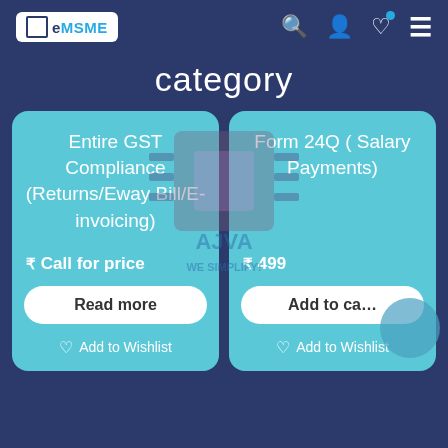[Figure (logo): eMSME logo in white box with blue text]
category
Entire GST Compliance (Returns/Eway Bill/E-invoicing)
₹ Call for price
Read more
Add to Wishlist
Form 24Q ( Salary Payments)
₹ 499
Add to cart
Add to Wishlist